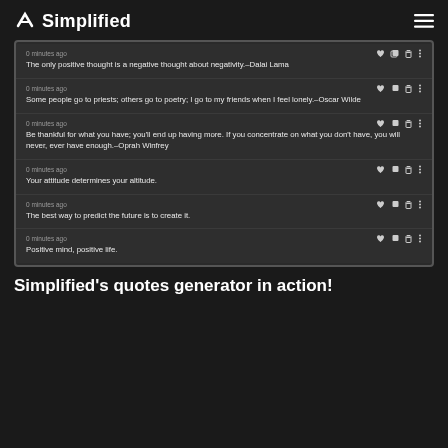Simplified
[Figure (screenshot): Screenshot of Simplified app showing a quotes generator interface with 6 generated quote cards, each with timestamp '0 minutes ago' and action icons (heart, copy, delete, more). Quotes shown: 1) 'The only positive thought is a negative thought about negativity.–Dalai Lama' 2) 'Some people go to priests; others go to poetry; I go to my friends when I feel lonely.–Oscar Wilde' 3) 'Be thankful for what you have; you'll end up having more. If you concentrate on what you don't have, you will never, ever have enough.–Oprah Winfrey' 4) 'Your attitude determines your altitude.' 5) 'The best way to predict the future is to create it.' 6) 'Positive mind, positive life.']
Simplified's quotes generator in action!